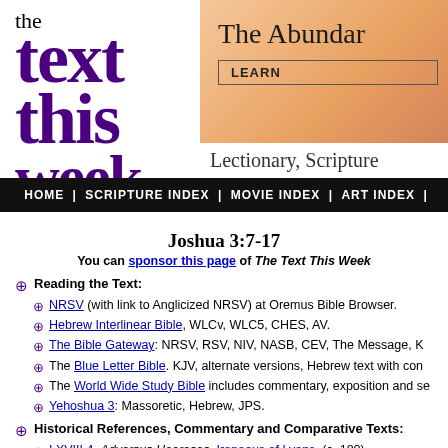[Figure (logo): The Text This Week logo with large purple serif text]
[Figure (illustration): The Abundant [Life] banner with orange gradient background and LEARN button]
Lectionary, Scripture
HOME | SCRIPTURE INDEX | MOVIE INDEX | ART INDEX |
Joshua 3:7-17
You can sponsor this page of The Text This Week
Reading the Text:
NRSV (with link to Anglicized NRSV) at Oremus Bible Browser.
Hebrew Interlinear Bible, WLCv, WLC5, CHES, AV.
The Bible Gateway: NRSV, RSV, NIV, NASB, CEV, The Message, K
The Blue Letter Bible. KJV, alternate versions, Hebrew text with com
The World Wide Study Bible includes commentary, exposition and se
Yehoshua 3: Massoretic, Hebrew, JPS.
Historical References, Commentary and Comparative Texts:
I.XVIII.4, Adversus Haereses, Irenaeus of Lyons. (c. 180)